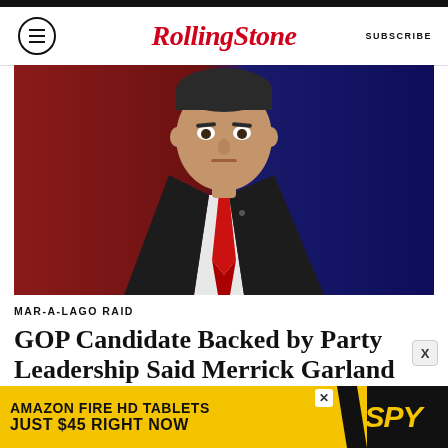Rolling Stone — SUBSCRIBE
[Figure (photo): Man in dark suit with red tie seated in front of red and blue background, serious expression]
MAR-A-LAGO RAID
GOP Candidate Backed by Party Leadership Said Merrick Garland Should 'Probably Be Executed'
BY NIKKI MCCANN RAMIREZ
[Figure (infographic): Advertisement: AMAZON FIRE HD TABLETS JUST $45 RIGHT NOW — SPY]